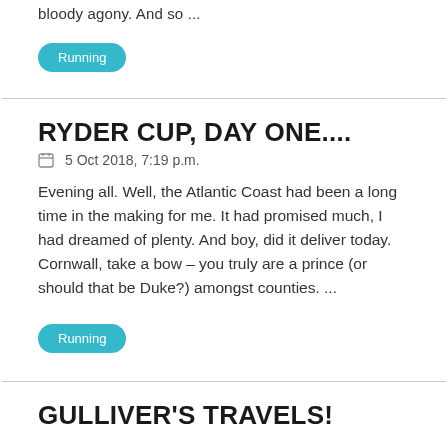bloody agony.  And so ...
Running
RYDER CUP, DAY ONE....
5 Oct 2018, 7:19 p.m.
Evening all. Well, the Atlantic Coast had been a long time in the making for me.  It had promised much, I had dreamed of plenty.  And boy, did it deliver today.  Cornwall, take a bow – you truly are a prince (or should that be Duke?) amongst counties. ...
Running
GULLIVER'S TRAVELS!